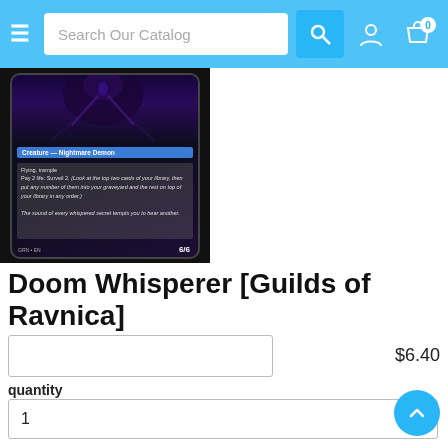Search Our Catalog
[Figure (photo): Magic: The Gathering card - Doom Whisperer, Creature - Nightmare Demon, 6/6, from Guilds of Ravnica set. Dark card with flying demon artwork.]
Doom Whisperer [Guilds of Ravnica]
$6.40
quantity
1
Add to cart
|  |  |
| --- | --- |
| Set: | Guilds of Ravnica |
| Type: | Creature — Nightmare Demon |